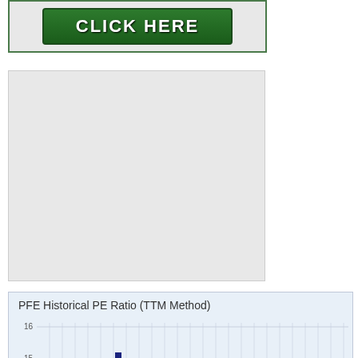[Figure (screenshot): Green 'CLICK HERE' button on grey background with green border]
[Figure (other): Large grey placeholder/ad box]
[Figure (bar-chart): PFE Historical PE Ratio (TTM Method)]